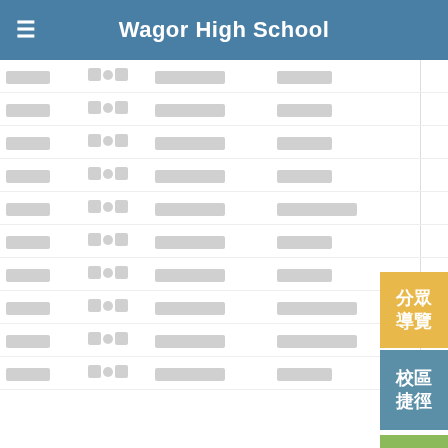Wagor High School
| □□□□ | □o□ | □□□□□□□ | □□□□□ |
| □□□□ | □o□ | □□□□□□□ | □□□□□ |
| □□□□ | □o□ | □□□□□□□ | □□□□□ |
| □□□□ | □o□ | □□□□□□□ | □□□□□ |
| □□□□ | □o□ | □□□□□□□ | □□□□□□□ |
| □□□□ | □o□ | □□□□□□□ | □□□□□ |
| □□□□ | □o□ | □□□□□□□ | □□□□□ |
| □□□□ | □o□ | □□□□□□□ | □□□□□□□ |
| □□□□ | □o□ | □□□□□□□ | □□□□□□□ |
| □□□□ | □o□ | □□□□□□□ | □□□□□ |
分眾導覽
校區捷徑